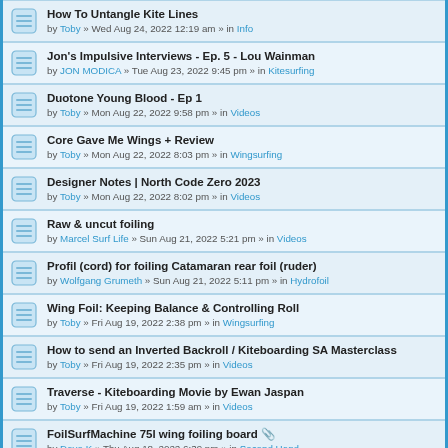How To Untangle Kite Lines | by Toby » Wed Aug 24, 2022 12:19 am » in Info
Jon's Impulsive Interviews - Ep. 5 - Lou Wainman | by JON MODICA » Tue Aug 23, 2022 9:45 pm » in Kitesurfing
Duotone Young Blood - Ep 1 | by Toby » Mon Aug 22, 2022 9:58 pm » in Videos
Core Gave Me Wings + Review | by Toby » Mon Aug 22, 2022 8:03 pm » in Wingsurfing
Designer Notes | North Code Zero 2023 | by Toby » Mon Aug 22, 2022 8:02 pm » in Videos
Raw & uncut foiling | by Marcel Surf Life » Sun Aug 21, 2022 5:21 pm » in Videos
Profil (cord) for foiling Catamaran rear foil (ruder) | by Wolfgang Grumeth » Sun Aug 21, 2022 5:11 pm » in Hydrofoil
Wing Foil: Keeping Balance & Controlling Roll | by Toby » Fri Aug 19, 2022 2:38 pm » in Wingsurfing
How to send an Inverted Backroll / Kiteboarding SA Masterclass | by Toby » Fri Aug 19, 2022 2:35 pm » in Videos
Traverse - Kiteboarding Movie by Ewan Jaspan | by Toby » Fri Aug 19, 2022 1:59 am » in Videos
FoilSurfMachine 75l wing foiling board | by Dave K » Thu Aug 18, 2022 6:39 pm » in Second Hand